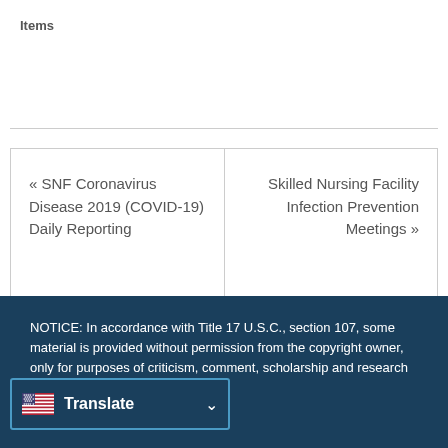Items
« SNF Coronavirus Disease 2019 (COVID-19) Daily Reporting
Skilled Nursing Facility Infection Prevention Meetings »
NOTICE: In accordance with Title 17 U.S.C., section 107, some material is provided without permission from the copyright owner, only for purposes of criticism, comment, scholarship and research of federal copyright laws. These